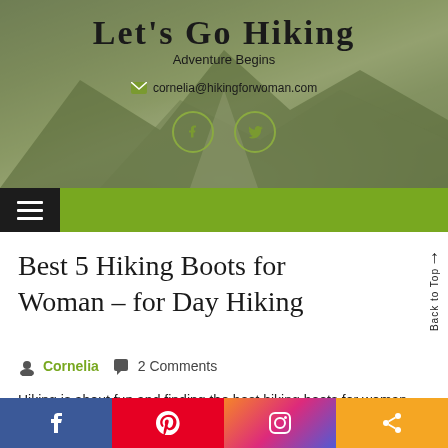LET'S GO HIKING — Adventure Begins
cornelia@hikingforwoman.com
[Figure (screenshot): Navigation bar with hamburger menu icon on green background]
Best 5 Hiking Boots for Woman – for Day Hiking
Cornelia   2 Comments
Hiking is about fun and finding the best hiking boots for woman can sometimes be difficult.
[Figure (infographic): Social media share bar at bottom: Facebook, Pinterest, Instagram, Share buttons]